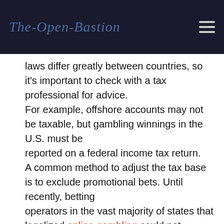The-Open-Bastion
laws differ greatly between countries, so it's important to check with a tax professional for advice. For example, offshore accounts may not be taxable, but gambling winnings in the U.S. must be reported on a federal income tax return. A common method to adjust the tax base is to exclude promotional bets. Until recently, betting operators in the vast majority of states that legalized online gambling could not exclude such promotional bets. That meant that they were taxed on revenue that never materialized.